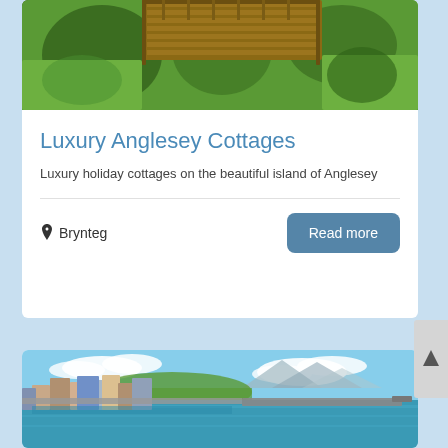[Figure (photo): Aerial view of a wooden deck or structure with green grass and trees around it]
Luxury Anglesey Cottages
Luxury holiday cottages on the beautiful island of Anglesey
Brynteg
Read more
[Figure (photo): Aerial view of a coastal town with colorful buildings along a waterfront, pier extending into blue water, and mountains in the background under partly cloudy sky]